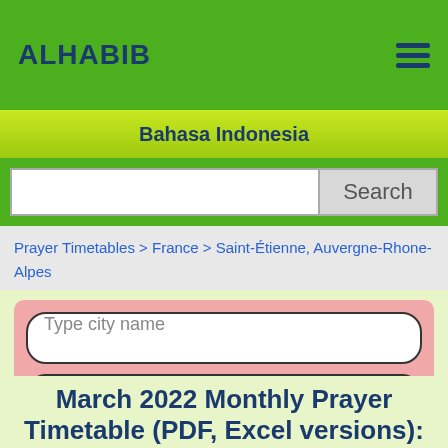ALHABIB
Bahasa Indonesia
Search
Prayer Timetables > France > Saint-Étienne, Auvergne-Rhone-Alpes > March 2022
Type city name
Find Prayer Timetable
March 2022 Monthly Prayer Timetable (PDF, Excel versions):